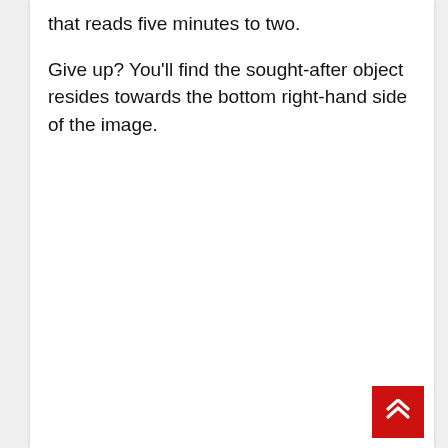that reads five minutes to two.
Give up? You'll find the sought-after object resides towards the bottom right-hand side of the image.